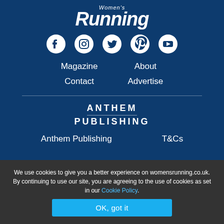Women's Running
[Figure (infographic): Social media icons: Facebook, Instagram, Twitter, Pinterest, YouTube]
Magazine
About
Contact
Advertise
[Figure (logo): Anthem Publishing logo with horizontal divider between ANTHEM and PUBLISHING text]
Anthem Publishing
T&Cs
We use cookies to give you a better experience on womensrunning.co.uk. By continuing to use our site, you are agreeing to the use of cookies as set in our Cookie Policy.
OK, got it